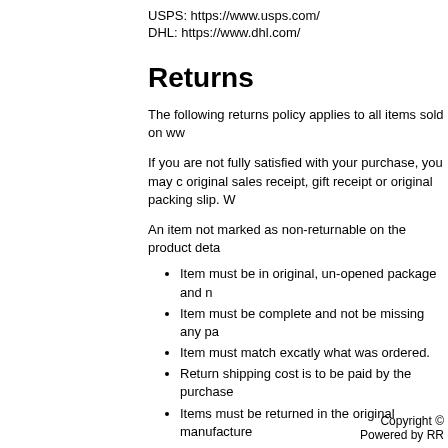USPS: https://www.usps.com/
DHL: https://www.dhl.com/
Returns
The following returns policy applies to all items sold on ww
If you are not fully satisfied with your purchase, you may c original sales receipt, gift receipt or original packing slip. W
An item not marked as non-returnable on the product deta
Item must be in original, un-opened package and n
Item must be complete and not be missing any pa
Item must match excatly what was ordered.
Return shipping cost is to be paid by the purchase
Items must be returned in the original manufacture
Electrical items are subject to a 15% restocking fe
If you have any items you're considering returning, please
If you have any other questions or concerns please call us
Copyright ©
Powered by RR